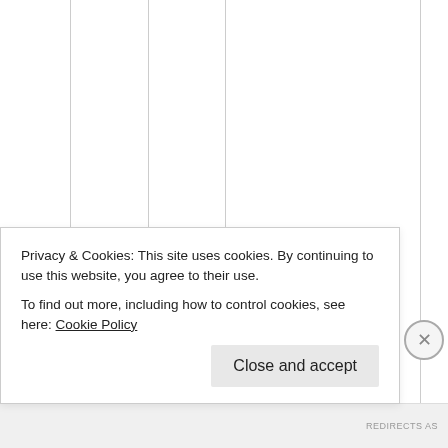The name Mosc, its a Russian word for Moshe. Like as found in Moscowitz Furniture. Owitz means “son of ”. 🙂
Privacy & Cookies: This site uses cookies. By continuing to use this website, you agree to their use.
To find out more, including how to control cookies, see here: Cookie Policy
REDIRECTS AS